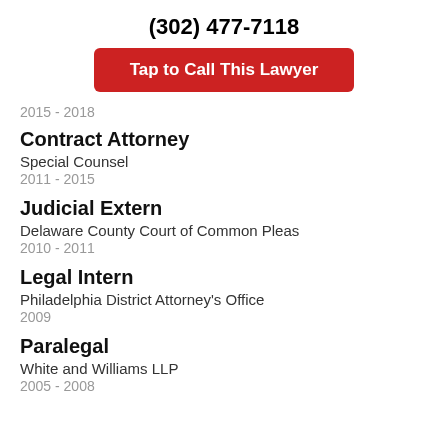(302) 477-7118
Tap to Call This Lawyer
2015 - 2018
Contract Attorney
Special Counsel
2011 - 2015
Judicial Extern
Delaware County Court of Common Pleas
2010 - 2011
Legal Intern
Philadelphia District Attorney's Office
2009
Paralegal
White and Williams LLP
2005 - 2008